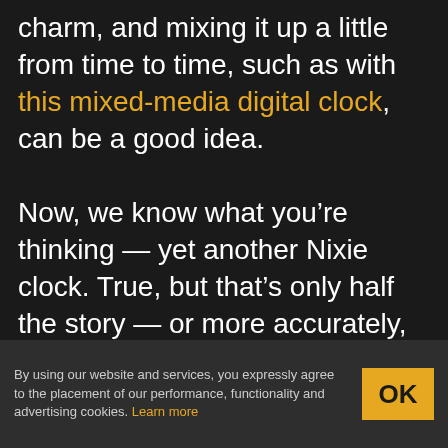charm, and mixing it up a little from time to time, such as with this mixed-media digital clock, can be a good idea.

Now, we know what you're thinking — yet another Nixie clock. True, but that's only half the story — or more accurately, one-sixth. There's but a single Nixie in [Fuselage]'s circus-punk themed clock, used for the least significant digit in the hours part of the display. The other digits are displayed with four seven-segment devices — a Numitron, a vacuum fluorescent display, and an LED dot display —
By using our website and services, you expressly agree to the placement of our performance, functionality and advertising cookies. Learn more